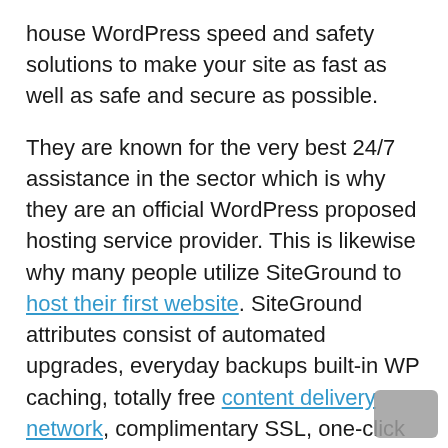house WordPress speed and safety solutions to make your site as fast as well as safe and secure as possible.
They are known for the very best 24/7 assistance in the sector which is why they are an official WordPress proposed hosting service provider. This is likewise why many people utilize SiteGround to host their first website. SiteGround attributes consist of automated upgrades, everyday backups built-in WP caching, totally free content delivery network, complimentary SSL, one-click hosting, as well as GIT variation control.
Siteground is one of the proposed WordPress hosting business. They are understood for their first class customer support.